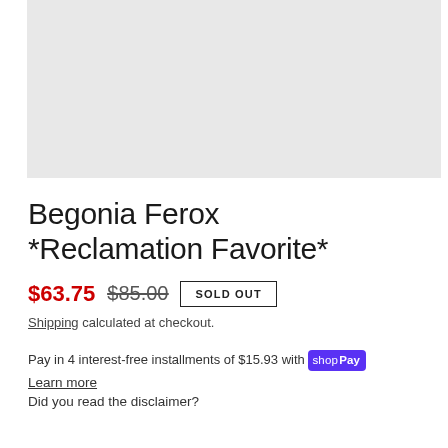[Figure (photo): Product image placeholder — light gray rectangle]
Begonia Ferox *Reclamation Favorite*
$63.75  $85.00  SOLD OUT
Shipping calculated at checkout.
Pay in 4 interest-free installments of $15.93 with Shop Pay
Learn more
Did you read the disclaimer?